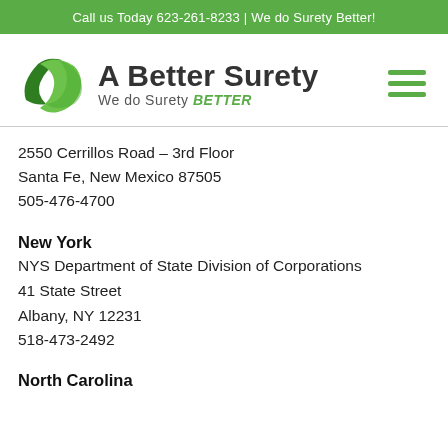Call us Today 623-261-8233 | We do Surety Better!
[Figure (logo): A Better Surety logo with green leaf/arrow icon, text 'A Better Surety' and tagline 'We do Surety BETTER' in green italic]
2550 Cerrillos Road – 3rd Floor
Santa Fe, New Mexico 87505
505-476-4700
New York
NYS Department of State Division of Corporations
41 State Street
Albany, NY 12231
518-473-2492
North Carolina